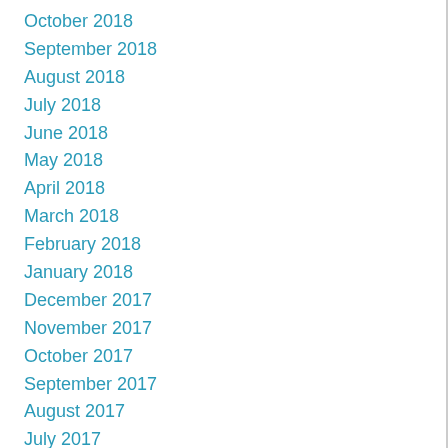October 2018
September 2018
August 2018
July 2018
June 2018
May 2018
April 2018
March 2018
February 2018
January 2018
December 2017
November 2017
October 2017
September 2017
August 2017
July 2017
June 2017
May 2017
March 2017